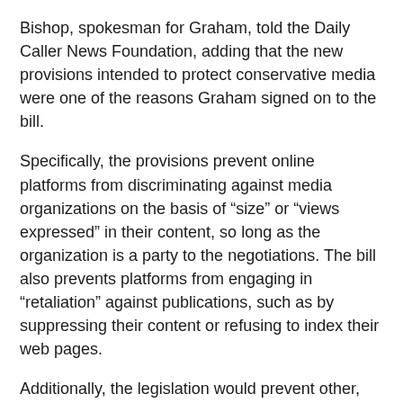Bishop, spokesman for Graham, told the Daily Caller News Foundation, adding that the new provisions intended to protect conservative media were one of the reasons Graham signed on to the bill.
Specifically, the provisions prevent online platforms from discriminating against media organizations on the basis of “size” or “views expressed” in their content, so long as the organization is a party to the negotiations. The bill also prevents platforms from engaging in “retaliation” against publications, such as by suppressing their content or refusing to index their web pages.
Additionally, the legislation would prevent other, larger media organizations from discriminating against fellow publications due to size and viewpoint.
The provisions were added at the behest of Republican lawmakers behind the bill, the people familiar with the matter first told the DCNF in order to bolster Republican support for